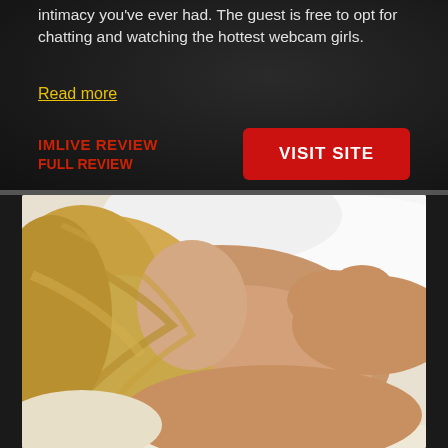intimacy you've ever had. The guest is free to opt for chatting and watching the hottest webcam girls.
Read more
IMLIVE REVIEW
FULL REVIEW
VISIT SITE
[Figure (photo): Blonde woman lying on white fur/fabric, adult content photo]